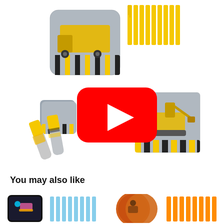[Figure (photo): Construction party supply set with dump truck plates, yellow forks, napkins with excavator, and rolled utensils with black and yellow striped pattern. A YouTube play button overlay (red rounded rectangle with white triangle) is centered over the image.]
You may also like
[Figure (photo): 80s retro themed party supply set with colorful square plates and light blue plastic forks.]
[Figure (photo): BMX/extreme sports themed party supply set with round plates and orange plastic forks.]